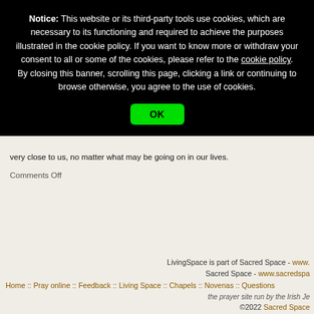Notice: This website or its third-party tools use cookies, which are necessary to its functioning and required to achieve the purposes illustrated in the cookie policy. If you want to know more or withdraw your consent to all or some of the cookies, please refer to the cookie policy. By closing this banner, scrolling this page, clicking a link or continuing to browse otherwise, you agree to the use of cookies.
OK
very close to us, no matter what may be going on in our lives.
Comments Off
LivingSpace is part of Sacred Space - www...
Sacred Space - www.sacredspa...
Home :: Pray online :: Feedback :: Living Space :: Chapels :: Novenas :: Questions...
the prayer site run by the Irish Je... ©2022 Sacred Space